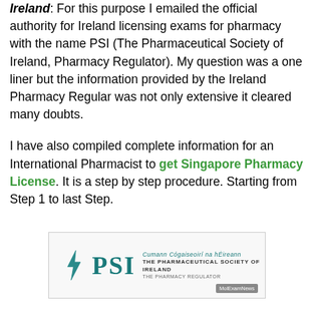Ireland: For this purpose I emailed the official authority for Ireland licensing exams for pharmacy with the name PSI (The Pharmaceutical Society of Ireland, Pharmacy Regulator). My question was a one liner but the information provided by the Ireland Pharmacy Regular was not only extensive it cleared many doubts.
I have also compiled complete information for an International Pharmacist to get Singapore Pharmacy License. It is a step by step procedure. Starting from Step 1 to last Step.
[Figure (logo): PSI logo — The Pharmaceutical Society of Ireland, The Pharmacy Regulator, with a green lightning bolt icon and teal PSI text, plus MolExamNews watermark badge]
Before letting you know about the the complete and in-depth procedure to get a Ireland Pharmacy license what are some common questions asked by pharmacist who wish to be on Ireland Pharmacy License. Some of these questions exactly match with the queries asked by my friends. What are Ireland pharmacy hours and salary of a pharmacist,can we